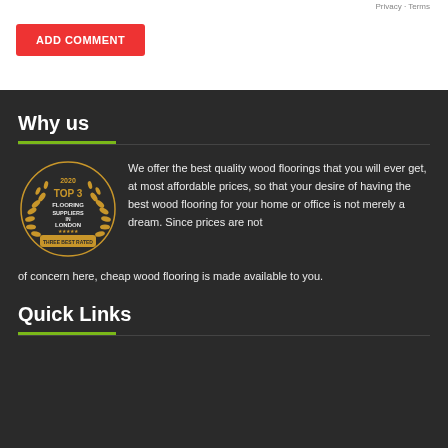Privacy · Terms
ADD COMMENT
Why us
[Figure (logo): 2020 Top 3 Flooring Suppliers in London badge with laurel wreath — Three Best Rated]
We offer the best quality wood floorings that you will ever get, at most affordable prices, so that your desire of having the best wood flooring for your home or office is not merely a dream. Since prices are not of concern here, cheap wood flooring is made available to you.
Quick Links